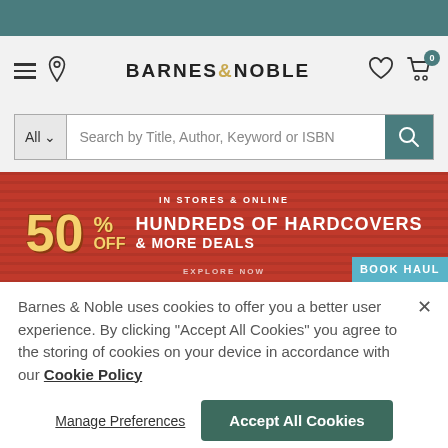[Figure (screenshot): Barnes & Noble website header with teal top bar, hamburger menu, location pin icon, B&N logo, heart icon, and cart icon with 0 badge]
[Figure (screenshot): Search bar with 'All' category dropdown and placeholder text 'Search by Title, Author, Keyword or ISBN' and teal search button]
[Figure (screenshot): Promotional banner: red background with stripe pattern, '50% OFF HUNDREDS OF HARDCOVERS & MORE DEALS' in yellow and white text, BOOK HAUL badge, IN STORES & ONLINE text, EXPLORE NOW text]
Barnes & Noble uses cookies to offer you a better user experience. By clicking "Accept All Cookies" you agree to the storing of cookies on your device in accordance with our Cookie Policy
Manage Preferences
Accept All Cookies